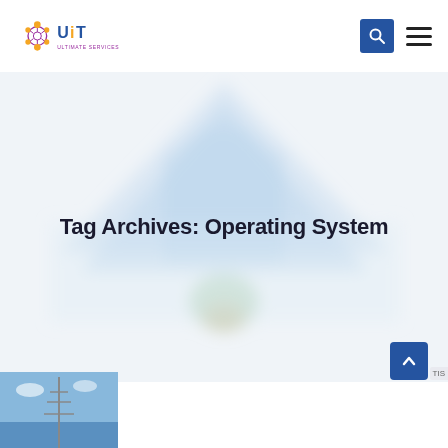UiT Ultimate Services logo with search and menu icons
[Figure (illustration): Abstract blurred building/architecture background with translucent geometric shapes — light blue and white tones]
Tag Archives: Operating System
[Figure (photo): Partial photo at bottom left corner showing blue sky and what appears to be a communication tower or antenna]
[Figure (other): Blue scroll-to-top button with upward chevron arrow at bottom right]